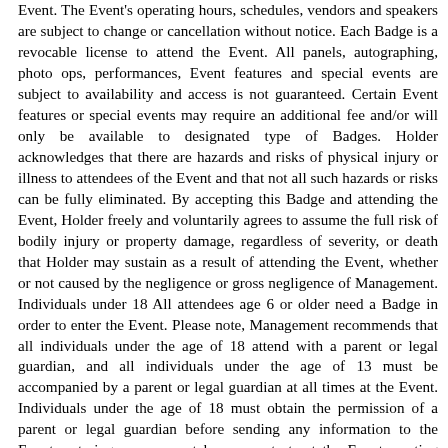Event. The Event's operating hours, schedules, vendors and speakers are subject to change or cancellation without notice. Each Badge is a revocable license to attend the Event. All panels, autographing, photo ops, performances, Event features and special events are subject to availability and access is not guaranteed. Certain Event features or special events may require an additional fee and/or will only be available to designated type of Badges. Holder acknowledges that there are hazards and risks of physical injury or illness to attendees of the Event and that not all such hazards or risks can be fully eliminated. By accepting this Badge and attending the Event, Holder freely and voluntarily agrees to assume the full risk of bodily injury or property damage, regardless of severity, or death that Holder may sustain as a result of attending the Event, whether or not caused by the negligence or gross negligence of Management. Individuals under 18 All attendees age 6 or older need a Badge in order to enter the Event. Please note, Management recommends that all individuals under the age of 18 attend with a parent or legal guardian, and all individuals under the age of 13 must be accompanied by a parent or legal guardian at all times at the Event. Individuals under the age of 18 must obtain the permission of a parent or legal guardian before sending any information to the Event, entering any sweepstakes or contests at the Event, posting any information on the Event website or related websites, or purchasing any goods online related to the Event. The submission of information to the Event and acknowledging terms of a Badge at the Event is...